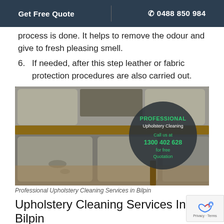Get Free Quote   |   📞 0488 850 984
process is done. It helps to remove the odour and give to fresh pleasing smell.
6. If needed, after this step leather or fabric protection procedures are also carried out.
[Figure (photo): Photo of grey upholstered sofa chairs with professional upholstery cleaning badge overlay showing: PROFESSIONAL Upholstery Cleaning, Call us at 1300 402 628 for free Quotation]
Professional Upholstery Cleaning Services in Bilpin
Upholstery Cleaning Services In Bilpin
Koala Cleaning provides